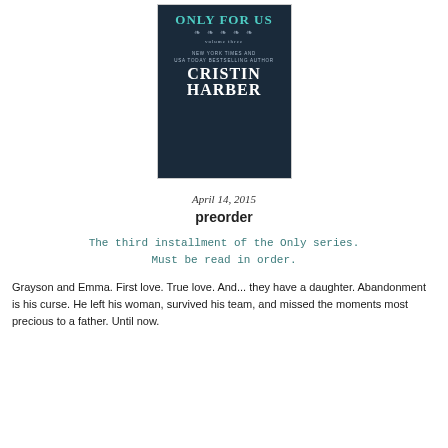[Figure (illustration): Book cover for 'Only For Us, Volume Three' by Cristin Harber, New York Times and USA Today Bestselling Author. Dark navy/teal background with decorative scrollwork and the title in teal lettering.]
April 14, 2015
preorder
The third installment of the Only series. Must be read in order.
Grayson and Emma. First love. True love. And... they have a daughter. Abandonment is his curse. He left his woman, survived his team, and missed the moments most precious to a father. Until now.